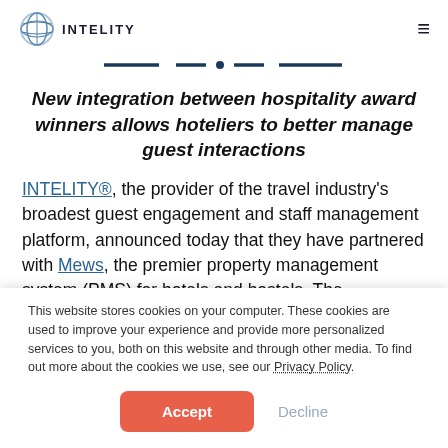INTELITY
[Figure (logo): INTELITY logo with circular globe graphic and INTELITY text]
New integration between hospitality award winners allows hoteliers to better manage guest interactions
INTELITY®, the provider of the travel industry's broadest guest engagement and staff management platform, announced today that they have partnered with Mews, the premier property management system (PMS) for hotels and hostels. The partnership leverages the flexible and
This website stores cookies on your computer. These cookies are used to improve your experience and provide more personalized services to you, both on this website and through other media. To find out more about the cookies we use, see our Privacy Policy.
Accept  Decline